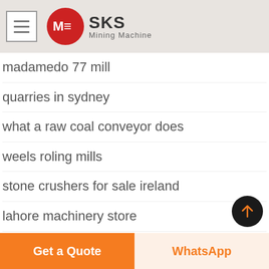SKS Mining Machine
madamedo 77 mill
quarries in sydney
what a raw coal conveyor does
weels roling mills
stone crushers for sale ireland
lahore machinery store
punch former punch grinder
reduction of production cost in the milling industry
Get a Quote | WhatsApp